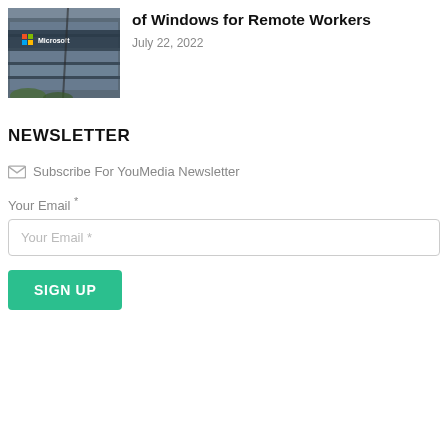[Figure (photo): Microsoft office building exterior with Microsoft logo and colorful Windows flag logo on the facade]
of Windows for Remote Workers
July 22, 2022
NEWSLETTER
Subscribe For YouMedia Newsletter
Your Email *
Your Email *
SIGN UP